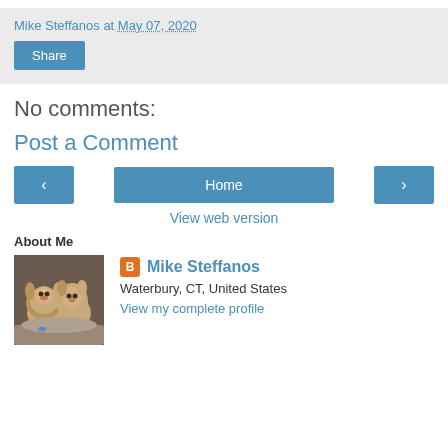Mike Steffanos at May 07, 2020
Share
No comments:
Post a Comment
‹
Home
›
View web version
About Me
[Figure (photo): Photo of two dogs lying on a cushion]
Mike Steffanos
Waterbury, CT, United States
View my complete profile